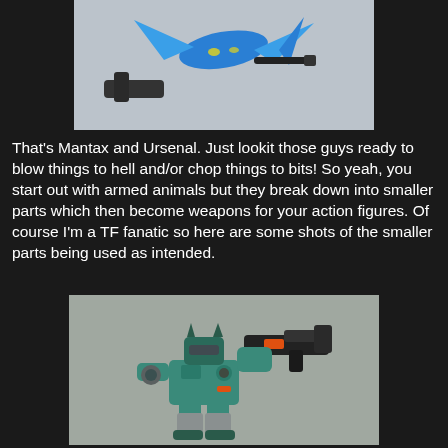[Figure (photo): Photo of two action figure weapons/animals against a light background — a blue manta ray/aircraft shape (Mantax) and a dark weapon piece (Ursenal)]
That's Mantax and Ursenal. Just lookit those guys ready to blow things to hell and/or chop things to bits! So yeah, you start out with armed animals but they break down into smaller parts which then become weapons for your action figures. Of course I'm a TF fanatic so here are some shots of the smaller parts being used as intended.
[Figure (photo): Photo of a teal/green Transformers action figure (robot mode) holding a black weapon accessory, posed against a gray background]